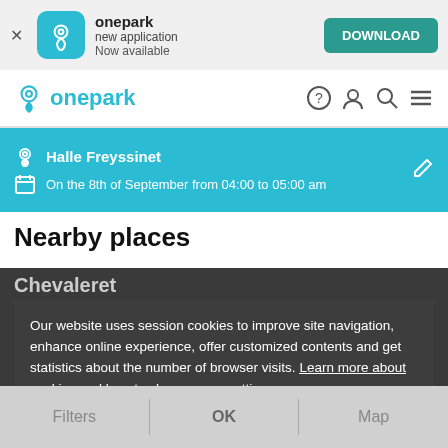[Figure (screenshot): Onepark app download banner with teal icon, app name 'onepark new application Now available' and green DOWNLOAD button]
[Figure (logo): Onepark logo with teal pin icon and 'onepark' text in teal, plus navigation icons (help, user, search, menu)]
Halle Freyssinet
On the 8th of September from 04:00 to 05:00 am
Nearby places
Chevaleret
Quai de Gare
Our website uses session cookies to improve site navigation, enhance online experience, offer customized contents and get statistics about the number of browser visits. Learn more about cookies and how to change your settings.
Filters   OK   Map